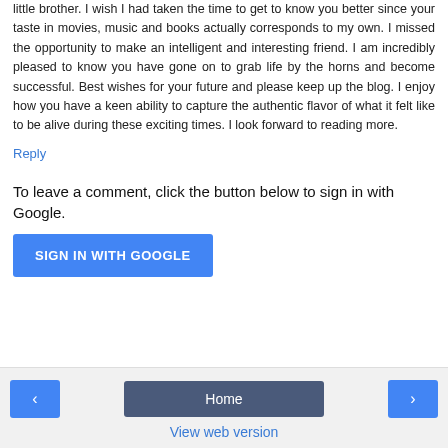little brother. I wish I had taken the time to get to know you better since your taste in movies, music and books actually corresponds to my own. I missed the opportunity to make an intelligent and interesting friend. I am incredibly pleased to know you have gone on to grab life by the horns and become successful. Best wishes for your future and please keep up the blog. I enjoy how you have a keen ability to capture the authentic flavor of what it felt like to be alive during these exciting times. I look forward to reading more.
Reply
To leave a comment, click the button below to sign in with Google.
[Figure (other): SIGN IN WITH GOOGLE button]
< Home > View web version